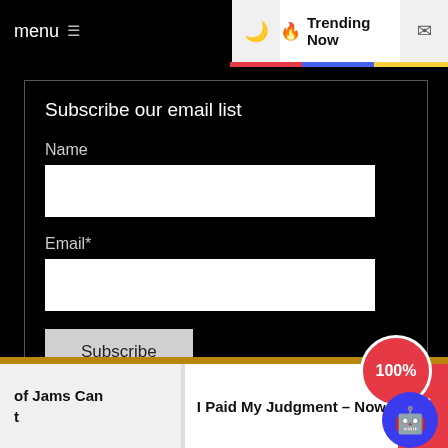menu ≡  🌙  🔥 Trending Now  ✉
Subscribe our email list
Name
Email*
Copyright © 2022 Finance Helps. All rights reserved. Theme: Blook By Themeinwp. | Powered by WordPress.
of Jams Can t
I Paid My Judgment – Now